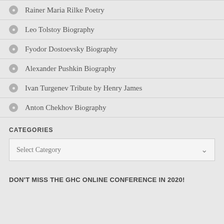Rainer Maria Rilke Poetry
Leo Tolstoy Biography
Fyodor Dostoevsky Biography
Alexander Pushkin Biography
Ivan Turgenev Tribute by Henry James
Anton Chekhov Biography
CATEGORIES
Select Category
DON'T MISS THE GHC ONLINE CONFERENCE IN 2020!